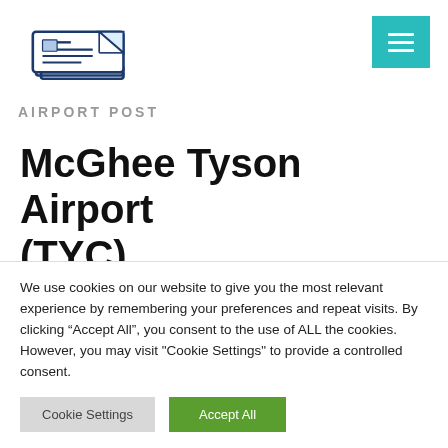[Figure (logo): Airport Post logo: a newspaper icon drawn in blue outline style with lines representing text on the paper]
AIRPORT POST
McGhee Tyson Airport (TYC)
We use cookies on our website to give you the most relevant experience by remembering your preferences and repeat visits. By clicking “Accept All”, you consent to the use of ALL the cookies. However, you may visit "Cookie Settings" to provide a controlled consent.
Cookie Settings
Accept All